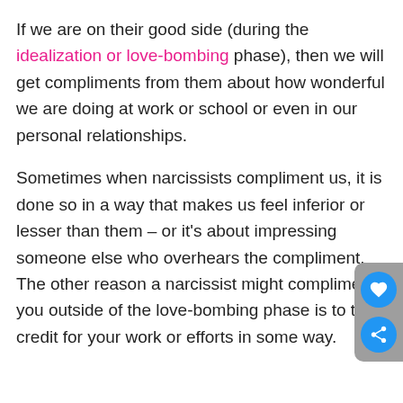If we are on their good side (during the idealization or love-bombing phase), then we will get compliments from them about how wonderful we are doing at work or school or even in our personal relationships.
Sometimes when narcissists compliment us, it is done so in a way that makes us feel inferior or lesser than them – or it's about impressing someone else who overhears the compliment. The other reason a narcissist might compliment you outside of the love-bombing phase is to take credit for your work or efforts in some way.